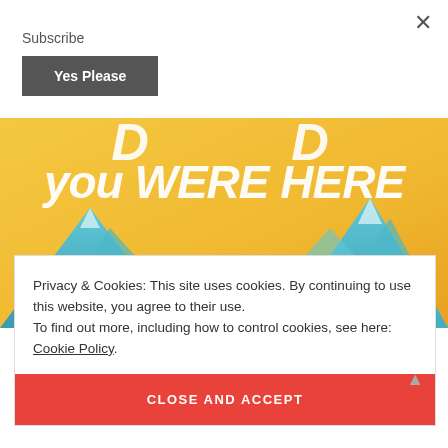×
Subscribe
Yes Please
[Figure (illustration): Book cover with yellow/golden gradient background, white hand-lettered text reading 'you WERE HERE' with stylized mountains at the bottom in blue and teal.]
Privacy & Cookies: This site uses cookies. By continuing to use this website, you agree to their use.
To find out more, including how to control cookies, see here: Cookie Policy
CLOSE AND ACCEPT